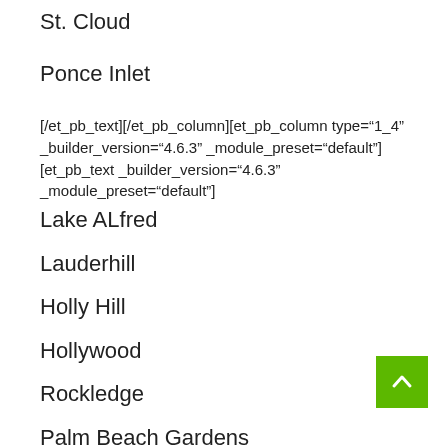St. Cloud
Ponce Inlet
[/et_pb_text][/et_pb_column][et_pb_column type="1_4" _builder_version="4.6.3" _module_preset="default"][et_pb_text _builder_version="4.6.3" _module_preset="default"]
Lake ALfred
Lauderhill
Holly Hill
Hollywood
Rockledge
Palm Beach Gardens
Ormond Beach
Hunslow